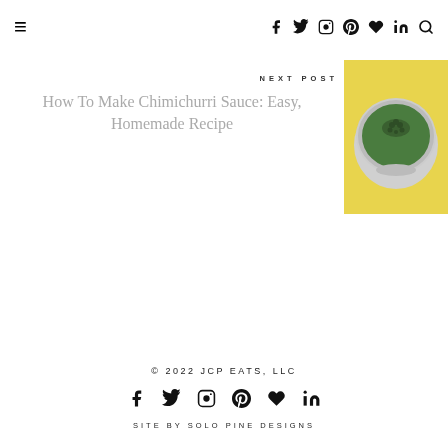≡  [nav icons: facebook, twitter, instagram, pinterest, bloglovin, linkedin, search]
NEXT POST
How To Make Chimichurri Sauce: Easy, Homemade Recipe
[Figure (photo): Bowl of green chimichurri sauce viewed from above on yellow background]
© 2022 JCP EATS, LLC
[icons: facebook, twitter, instagram, pinterest, bloglovin, linkedin]
SITE BY SOLO PINE DESIGNS